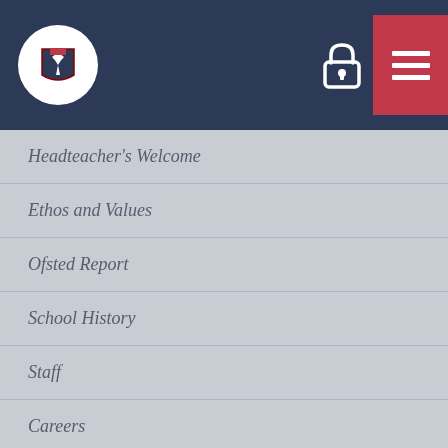[Figure (logo): School crest/logo with a bird on a shield, circular white badge on dark navy header]
Headteacher's Welcome
Ethos and Values
Ofsted Report
School History
Staff
Careers
Trustees
Curriculum
PE and Sport
Hiring and Lettings